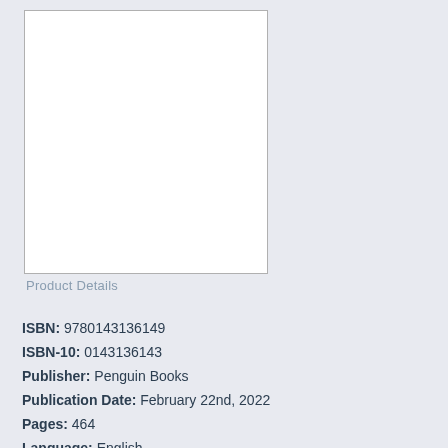[Figure (other): Book cover image placeholder — white rectangle with border]
Product Details
ISBN: 9780143136149
ISBN-10: 0143136143
Publisher: Penguin Books
Publication Date: February 22nd, 2022
Pages: 464
Language: English